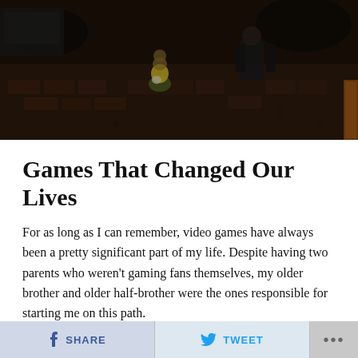[Figure (photo): Dark aerial view of video game characters/figurines on a brick/rubble ground, showing a child in yellow and green and an adult figure in black leather]
Games That Changed Our Lives
For as long as I can remember, video games have always been a pretty significant part of my life. Despite having two parents who weren't gaming fans themselves, my older brother and older half-brother were the ones responsible for starting me on this path.
SHARE   TWEET   ...